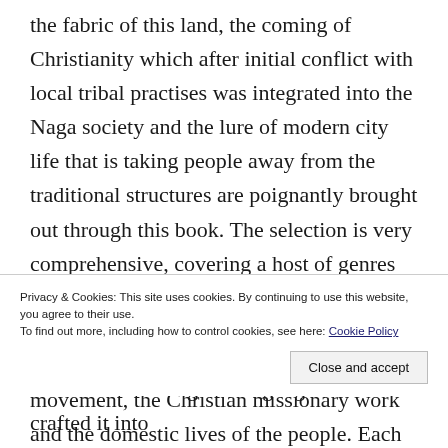the fabric of this land, the coming of Christianity which after initial conflict with local tribal practises was integrated into the Naga society and the lure of modern city life that is taking people away from the traditional structures are poignantly brought out through this book. The selection is very comprehensive, covering a host of genres from fiction to poetry to essay to graphic art and explores a vast range of subjects from World War II, the separatist movement, the Christian missionary work and the domestic lives of the people. Each tale is
Privacy & Cookies: This site uses cookies. By continuing to use this website, you agree to their use.
To find out more, including how to control cookies, see here: Cookie Policy
have taken the English language and crafted it into